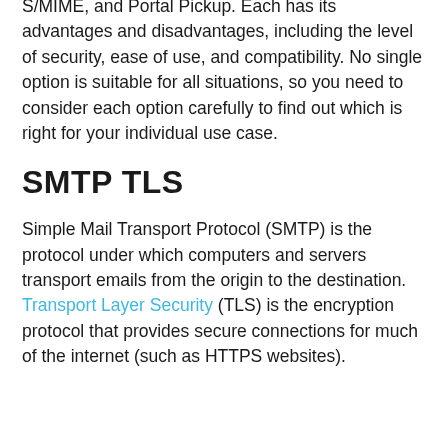email encryption links, including SMTP TLS, S/MIME, and Portal Pickup. Each has its advantages and disadvantages, including the level of security, ease of use, and compatibility. No single option is suitable for all situations, so you need to consider each option carefully to find out which is right for your individual use case.
SMTP TLS
Simple Mail Transport Protocol (SMTP) is the protocol under which computers and servers transport emails from the origin to the destination. Transport Layer Security (TLS) is the encryption protocol that provides secure connections for much of the internet (such as HTTPS websites).